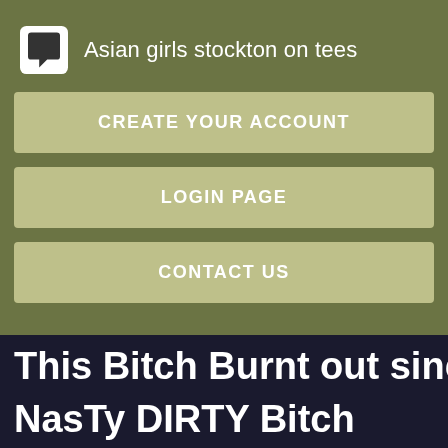Asian girls stockton on tees
CREATE YOUR ACCOUNT
LOGIN PAGE
CONTACT US
[Figure (screenshot): Social media post content showing offensive text 'This Bitch Burnt out sinc' and 'NasTy DIRTY Bitch' on dark background, with New York Post @nypost account bar at bottom]
This Bitch Burnt out sinc
NasTy DIRTY Bitch
New York Post @nypost